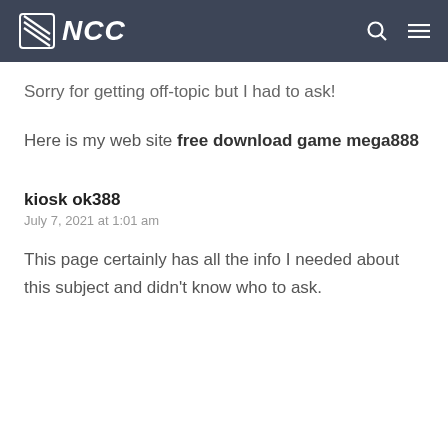NCC
Sorry for getting off-topic but I had to ask!
Here is my web site free download game mega888
kiosk ok388
July 7, 2021 at 1:01 am
This page certainly has all the info I needed about this subject and didn't know who to ask.